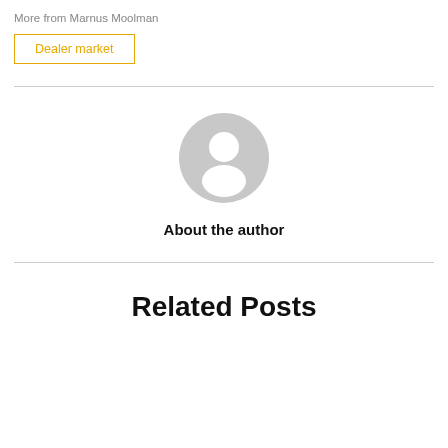More from Marnus Moolman
Dealer market
[Figure (illustration): Generic user avatar placeholder icon — a grey circle with a silhouette of a person (head and shoulders)]
About the author
Related Posts